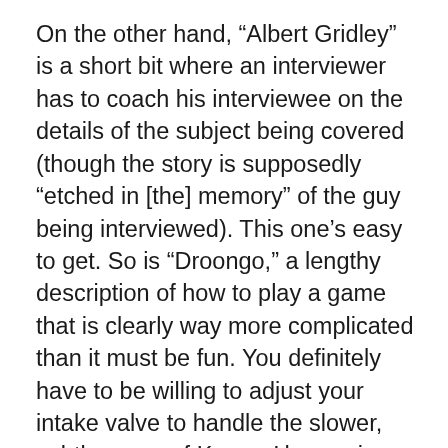On the other hand, “Albert Gridley” is a short bit where an interviewer has to coach his interviewee on the details of the subject being covered (though the story is supposedly “etched in [the] memory” of the guy being interviewed). This one’s easy to get. So is “Droongo,” a lengthy description of how to play a game that is clearly way more complicated than it must be fun. You definitely have to be willing to adjust your intake valve to handle the slower, subtler pace of Kovacs’ humor in order to appreciate his greatness. Many will find his television bits easier to get since they’re presented in both audio and visual form. But there’s no denying that Ernie Kovacs was one of the greats, and it’s quite commendable that Omnivore continues to give us more and more Ernie. (They’ve also released a Christmas record and an entire LP devoted to Kovacs’ character, Percy Dovetonsils, both as limited